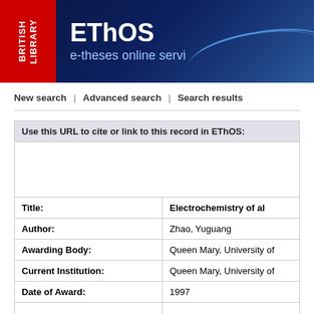[Figure (logo): British Library logo with red background and white text, next to EThOS e-theses online service banner with dark blue background]
New search | Advanced search | Search results
Use this URL to cite or link to this record in EThOS:
| Field | Value |
| --- | --- |
| Title: | Electrochemistry of al... |
| Author: | Zhao, Yuguang |
| Awarding Body: | Queen Mary, University of... |
| Current Institution: | Queen Mary, University of... |
| Date of Award: | 1997 |
|  |  |